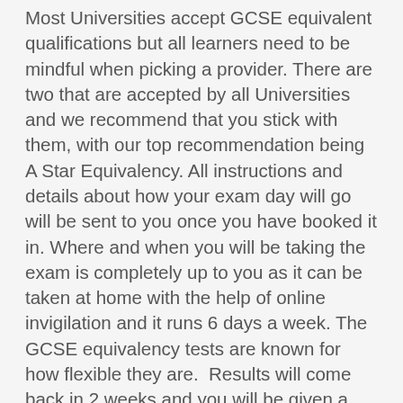Most Universities accept GCSE equivalent qualifications but all learners need to be mindful when picking a provider. There are two that are accepted by all Universities and we recommend that you stick with them, with our top recommendation being A Star Equivalency. All instructions and details about how your exam day will go will be sent to you once you have booked it in. Where and when you will be taking the exam is completely up to you as it can be taken at home with the help of online invigilation and it runs 6 days a week. The GCSE equivalency tests are known for how flexible they are. Results will come back in 2 weeks and you will be given a certificate. You will also be given a code that will be unique to you to verify your qualifications.